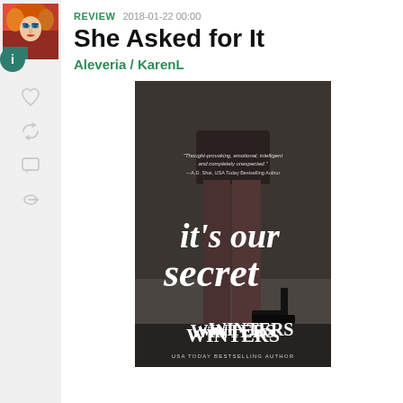[Figure (photo): Avatar image of a woman with red curly hair and artistic makeup against a colorful background]
REVIEW  2018-01-22 00:00
She Asked for It
Aleveria / KarenL
[Figure (photo): Book cover of 'It's Our Secret' by W. Winters, USA Today Bestselling Author. Shows a woman's legs in a dark skirt and high heels, with handwritten-style title text.]